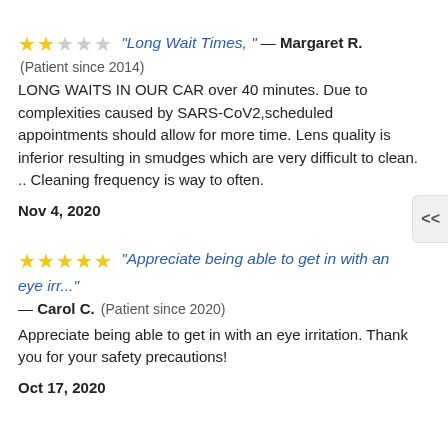★★☆☆☆ "Long Wait Times, " — Margaret R. (Patient since 2014)
LONG WAITS IN OUR CAR over 40 minutes. Due to complexities caused by SARS-CoV2,scheduled appointments should allow for more time. Lens quality is inferior resulting in smudges which are very difficult to clean. .. Cleaning frequency is way to often.
Nov 4, 2020
★★★★★ "Appreciate being able to get in with an eye irr..." — Carol C. (Patient since 2020)
Appreciate being able to get in with an eye irritation. Thank you for your safety precautions!
Oct 17, 2020